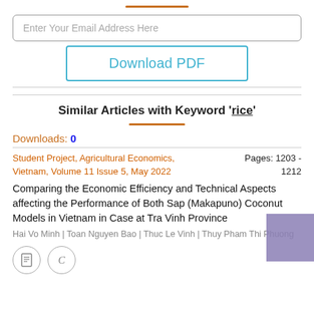[Figure (other): Orange horizontal decorative bar centered at top]
Enter Your Email Address Here
Download PDF
Similar Articles with Keyword 'rice'
Downloads: 0
Student Project, Agricultural Economics, Vietnam, Volume 11 Issue 5, May 2022
Pages: 1203 - 1212
Comparing the Economic Efficiency and Technical Aspects affecting the Performance of Both Sap (Makapuno) Coconut Models in Vietnam in Case at Tra Vinh Province
Hai Vo Minh | Toan Nguyen Bao | Thuc Le Vinh | Thuy Pham Thi Phuong